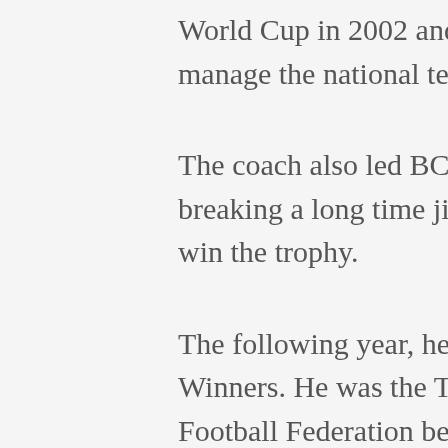World Cup in 2002 and 2010 but was not allowed to manage the national team at both World Cups.
The coach also led BCC Lions to win the 1989 FA Cup, breaking a long time jinx of northern clubs' inability to win the trophy.
The following year, he led the club to win the Africa Cup Winners. He was the Technical Director of the Nigeria Football Federation before his death.
No statement has been made on the cause of his death but close sources say he didn't wake up from his sleep.
“When Keshi was admitted, he (Amodu) called me to enquire about his state. He didn’t sound like someone sick.” Ilaboya